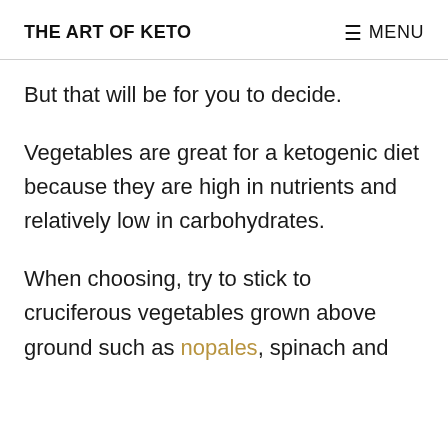THE ART OF KETO | MENU
But that will be for you to decide.
Vegetables are great for a ketogenic diet because they are high in nutrients and relatively low in carbohydrates.
When choosing, try to stick to cruciferous vegetables grown above ground such as nopales, spinach and